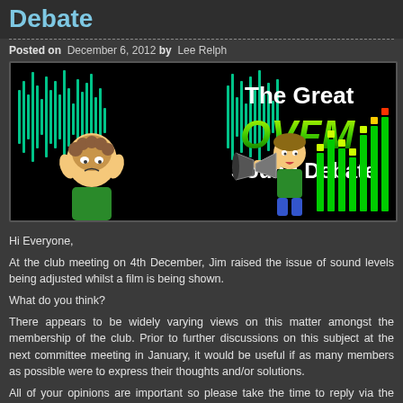Debate
Posted on  December 6, 2012 by  Lee Relph
[Figure (illustration): Banner image for 'The Great OVFM Sound Debate' showing cartoon characters with a megaphone, sound waveforms, and green audio level meters on a black background.]
Hi Everyone,
At the club meeting on 4th December, Jim raised the issue of sound levels being adjusted whilst a film is being shown.
What do you think?
There appears to be widely varying views on this matter amongst the membership of the club. Prior to further discussions on this subject at the next committee meeting in January, it would be useful if as many members as possible were to express their thoughts and/or solutions.
All of your opinions are important so please take the time to reply via the website.